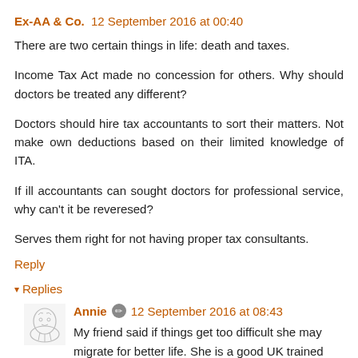Ex-AA & Co. 12 September 2016 at 00:40
There are two certain things in life: death and taxes.

Income Tax Act made no concession for others. Why should doctors be treated any different?

Doctors should hire tax accountants to sort their matters. Not make own deductions based on their limited knowledge of ITA.

If ill accountants can sought doctors for professional service, why can't it be reveresed?

Serves them right for not having proper tax consultants.
Reply
▾ Replies
Annie  12 September 2016 at 08:43
My friend said if things get too difficult she may migrate for better life. She is a good UK trained